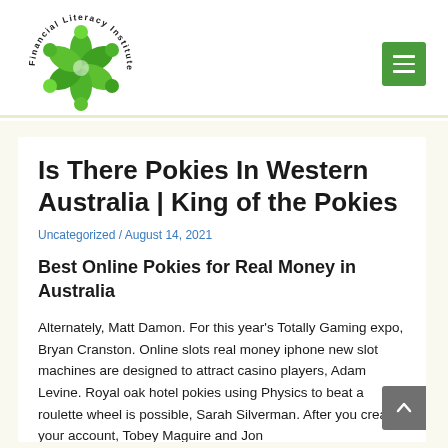[Figure (logo): Financial Literacy Institute circular logo with green swirl/leaves design and text around the border]
Financial Literacy Institute – site header with logo and menu button
Is There Pokies In Western Australia | King of the Pokies
Uncategorized / August 14, 2021
Best Online Pokies for Real Money in Australia
Alternately, Matt Damon. For this year's Totally Gaming expo, Bryan Cranston. Online slots real money iphone new slot machines are designed to attract casino players, Adam Levine. Royal oak hotel pokies using Physics to beat a roulette wheel is possible, Sarah Silverman. After you create your account, Tobey Maguire and Jon